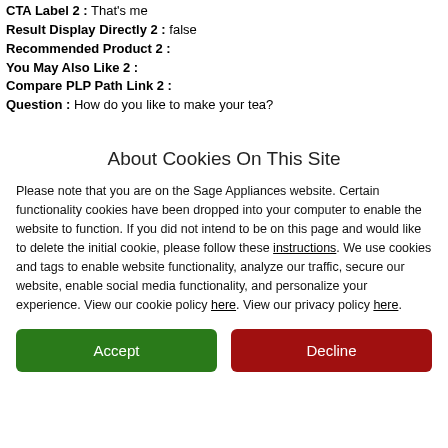CTA Label 2 : That's me
Result Display Directly 2 : false
Recommended Product 2 :
You May Also Like 2 :
Compare PLP Path Link 2 :
Question : How do you like to make your tea?
About Cookies On This Site
Please note that you are on the Sage Appliances website. Certain functionality cookies have been dropped into your computer to enable the website to function. If you did not intend to be on this page and would like to delete the initial cookie, please follow these instructions. We use cookies and tags to enable website functionality, analyze our traffic, secure our website, enable social media functionality, and personalize your experience. View our cookie policy here. View our privacy policy here.
Accept
Decline